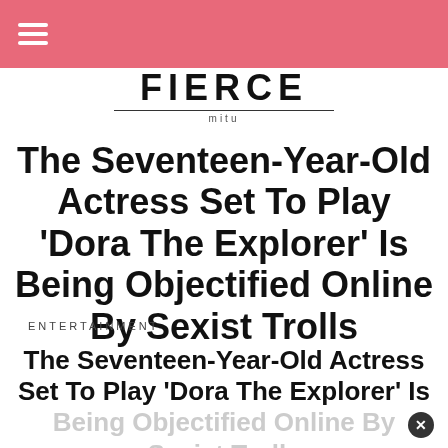FIERCE mitu
The Seventeen-Year-Old Actress Set To Play ‘Dora The Explorer’ Is Being Objectified Online By Sexist Trolls
ENTERTAINMENT
The Seventeen-Year-Old Actress Set To Play ‘Dora The Explorer’ Is Being Objectified Online By Sexist Trolls